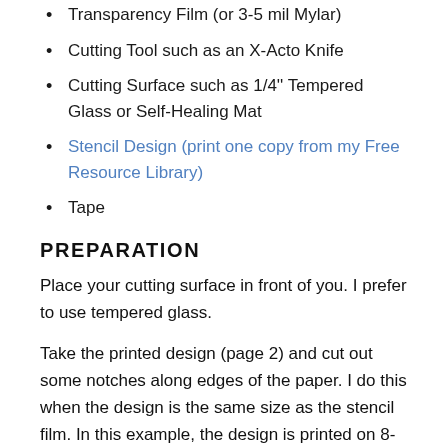Transparency Film (or 3-5 mil Mylar)
Cutting Tool such as an X-Acto Knife
Cutting Surface such as 1/4" Tempered Glass or Self-Healing Mat
Stencil Design (print one copy from my Free Resource Library)
Tape
PREPARATION
Place your cutting surface in front of you. I prefer to use tempered glass.
Take the printed design (page 2) and cut out some notches along edges of the paper. I do this when the design is the same size as the stencil film. In this example, the design is printed on 8-1/2" x 11" paper and the stencil film is 8-1/2" x 11" transparency film.